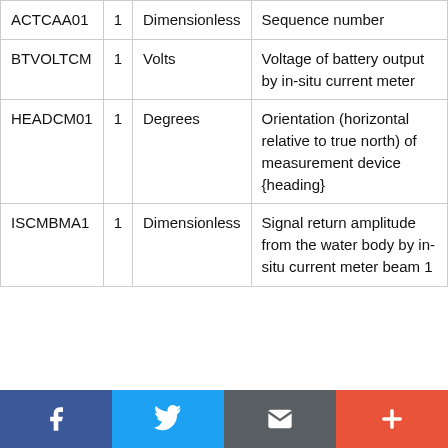| ACTCAA01 | 1 | Dimensionless | Sequence number |
| BTVOLTCM | 1 | Volts | Voltage of battery output by in-situ current meter |
| HEADCM01 | 1 | Degrees | Orientation (horizontal relative to true north) of measurement device {heading} |
| ISCMBMA1 | 1 | Dimensionless | Signal return amplitude from the water body by in-situ current meter beam 1 |